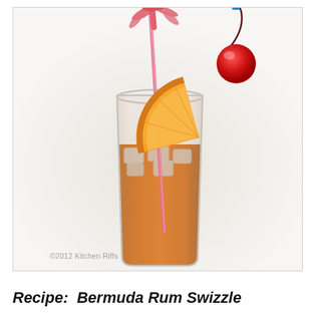[Figure (photo): A tall glass of Bermuda Rum Swizzle cocktail, amber/orange colored, filled with ice. The glass is garnished with an orange slice on the rim and a maraschino cherry on a blue-tipped pick. A pink decorative straw with a palm tree topper is inside the glass. White background. Watermark reads: © 2012 Kitchen Riffs]
Recipe:  Bermuda Rum Swizzle